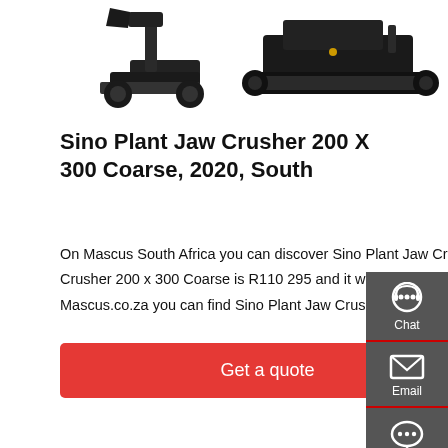[Figure (photo): Two construction/crushing machine images: a bucket/loader on the left and a tracked crawler chassis on the right, shown from the front/side, partially cropped at top of page]
Sino Plant Jaw Crusher 200 X 300 Coarse, 2020, South
On Mascus South Africa you can discover Sino Plant Jaw Crusher 200 x 300 Coarse crushers. The cost of this Sino Plant Jaw Crusher 200 x 300 Coarse is R110 295 and it was manufactured in 2020. This machine can be found in - South Africa. On Mascus.co.za you can find Sino Plant Jaw Crusher 200 x 300 Coarse and many other models of crushers.
[Figure (infographic): Side panel with three action buttons: Chat (headset icon), Email (envelope icon), Contact (speech bubble icon) on dark grey background]
Get a quote